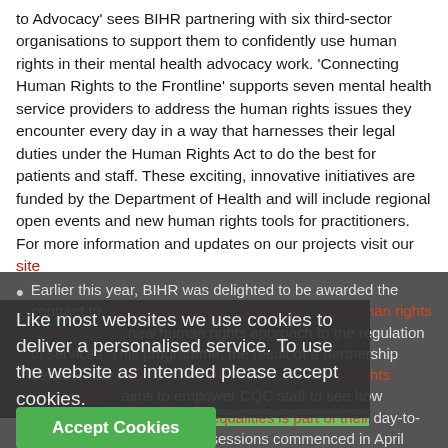to Advocacy' sees BIHR partnering with six third-sector organisations to support them to confidently use human rights in their mental health advocacy work.  'Connecting Human Rights to the Frontline' supports seven mental health service providers to address the human rights issues they encounter every day in a way that harnesses their legal duties under the Human Rights Act to do the best for patients and staff. These exciting, innovative initiatives are funded by the Department of Health and will include regional open events and new human rights tools for practitioners. For more information and updates on our projects visit our site
Earlier this year, BIHR was delighted to be awarded the contract to develop and deliver an equality and human rights [framework to support the] Care Quality Commission's new human rights approach to the regulation of services. This programme, the result of a partnership between the CQC and the Equality and Human Rights Commission, aims to empower CQC staff to see how applying human rights and equalities is part of their day-to-day work.  The first training sessions commenced in April and will continue throughout the year.
Like most websites we use cookies to deliver a personalised service. To use the website as intended please accept cookies.
Accept Cookies
This NHS FRHR...